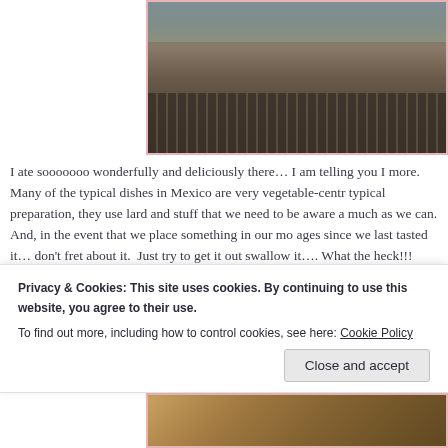[Figure (photo): Photo of an ornate outdoor fence or railing structure, possibly at a historical or religious site in Mexico, with people visible in background]
I ate sooooooo wonderfully and deliciously there… I am telling you I more.   Many of the typical dishes in Mexico are very vegetable-centr typical preparation, they use lard and stuff that we need to be aware a much as we can.  And, in the event that we place something in our mo ages since we last tasted it… don't fret about it.  Just try to get it out swallow it…. What the heck!!!  That's what fasting and detoxifying d
Let's start by my afternoon in Tlaquepaque, a section of Guadalajara from the region.    I met in a tour bus my friend Ana, from Puebla.  S
Privacy & Cookies: This site uses cookies. By continuing to use this website, you agree to their use.
To find out more, including how to control cookies, see here: Cookie Policy
[Figure (photo): Partial photo at bottom of page showing colorful objects, possibly food or crafts from the Tlaquepaque region]